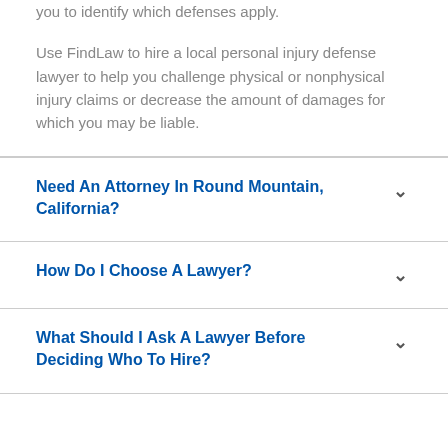you to identify which defenses apply. Use FindLaw to hire a local personal injury defense lawyer to help you challenge physical or nonphysical injury claims or decrease the amount of damages for which you may be liable.
Need An Attorney In Round Mountain, California?
How Do I Choose A Lawyer?
What Should I Ask A Lawyer Before Deciding Who To Hire?